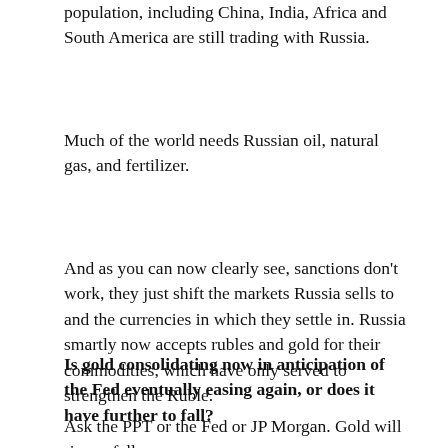population, including China, India, Africa and South America are still trading with Russia.
Much of the world needs Russian oil, natural gas, and fertilizer.
And as you can now clearly see, sanctions don't work, they just shift the markets Russia sells to and the currencies in which they settle in. Russia smartly now accepts rubles and gold for their commodities, which have only served to strengthen the Ruble.
Is gold consolidating now in anticipation of the Fed eventually easing again, or does it have further to fall?
Ask the PPT or the Fed or JP Morgan. Gold will rise or fall